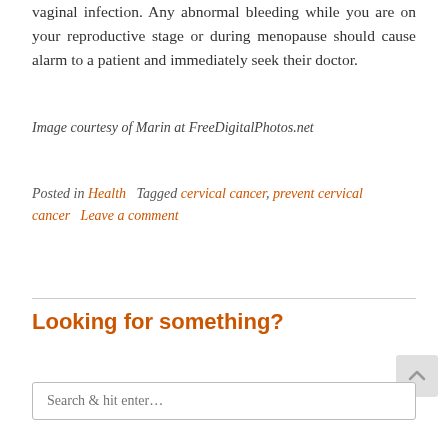vaginal infection. Any abnormal bleeding while you are on your reproductive stage or during menopause should cause alarm to a patient and immediately seek their doctor.
Image courtesy of Marin at FreeDigitalPhotos.net
Posted in Health   Tagged cervical cancer, prevent cervical cancer   Leave a comment
Looking for something?
Search & hit enter...